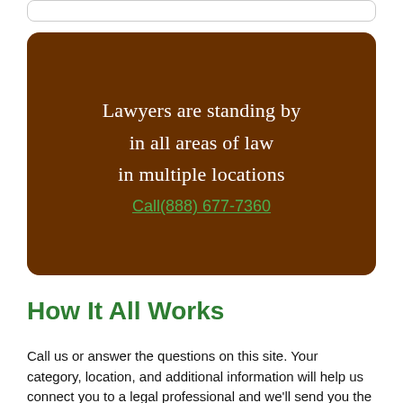[Figure (photo): Brown courthouse columns banner with text overlay: Lawyers are standing by in all areas of law in multiple locations, with call link Call(888) 677-7360]
How It All Works
Call us or answer the questions on this site. Your category, location, and additional information will help us connect you to a legal professional and we'll send you the results instantly.